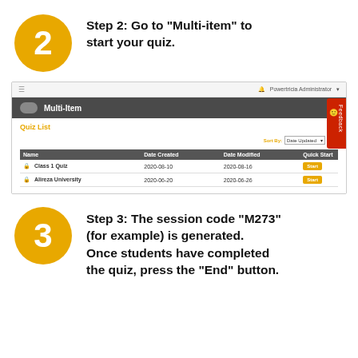Step 2: Go to "Multi-item" to start your quiz.
[Figure (screenshot): Screenshot of a quiz management interface showing the Multi-Item section with a Quiz List table containing two entries: Class 1 Quiz (2020-08-10, 2020-08-16) and Alireza University (2020-06-20, 2020-06-26), both with Start buttons. A red Feedback tab is visible on the right side.]
Step 3: The session code "M273" (for example) is generated. Once students have completed the quiz, press the "End" button.